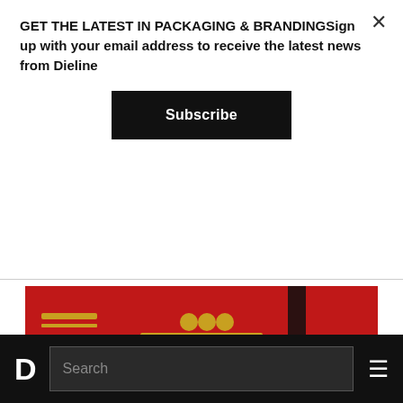GET THE LATEST IN PACKAGING & BRANDINGSign up with your email address to receive the latest news from Dieline
Subscribe
[Figure (photo): Red coffee/beverage packaging bags with illustrated portrait faces of people wearing hats, displayed against a black background. The center bag shows a person wearing a blue hat, left bag shows a person with a red hat, right bag is partially visible.]
BEVERAGE PACKAGING
D  Search  ≡